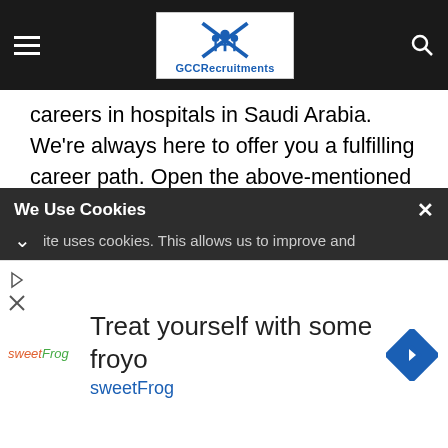GCCRecruitments — navigation bar with logo
careers in hospitals in Saudi Arabia. We're always here to offer you a fulfilling career path. Open the above-mentioned places and you would like to know more about the possibilities. Then you can call us at the following number.
[Figure (screenshot): Cookie consent banner reading 'We Use Cookies' with close button and partial text 'ite uses cookies. This allows us to improve and']
[Figure (screenshot): Advertisement banner for sweetFrog frozen yogurt with text 'Treat yourself with some froyo sweetFrog']